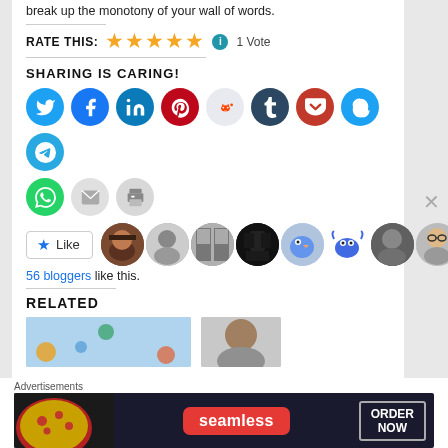break up the monotony of your wall of words.
RATE THIS: ★★★★★ ℹ 1 Vote
SHARING IS CARING!
[Figure (infographic): Social sharing icon buttons: Twitter, Facebook, LinkedIn, Pinterest, Reddit, Tumblr, Pocket, Skype, Telegram, WhatsApp, Email, Print]
[Figure (infographic): Like button and avatar strip showing 56 bloggers like this.]
56 bloggers like this.
RELATED
[Figure (photo): Related article thumbnail image (light blue background)]
[Figure (photo): Related article thumbnail image (person portrait)]
Advertisements
[Figure (infographic): Seamless food delivery advertisement banner with pizza image and ORDER NOW button]